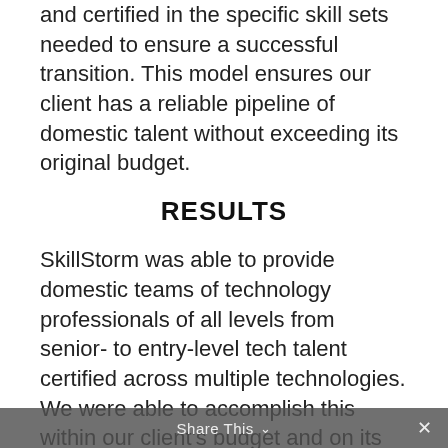and certified in the specific skill sets needed to ensure a successful transition. This model ensures our client has a reliable pipeline of domestic talent without exceeding its original budget.
RESULTS
SkillStorm was able to provide domestic teams of technology professionals of all levels from senior- to entry-level tech talent certified across multiple technologies. We were able to accomplish this within our client's budget and on its timeline and we continue to provide new talent monthly as part of its new technology talent acquisition model.
Share This